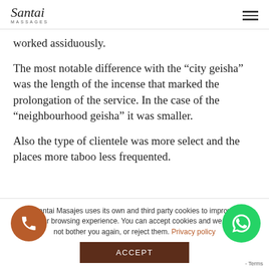Santai Massages
worked assiduously.
The most notable difference with the “city geisha” was the length of the incense that marked the prolongation of the service. In the case of the “neighbourhood geisha” it was smaller.
Also the type of clientele was more select and the places more taboo less frequented.
Santai Masajes uses its own and third party cookies to improve your browsing experience. You can accept cookies and we will not bother you again, or reject them. Privacy policy
ACCEPT